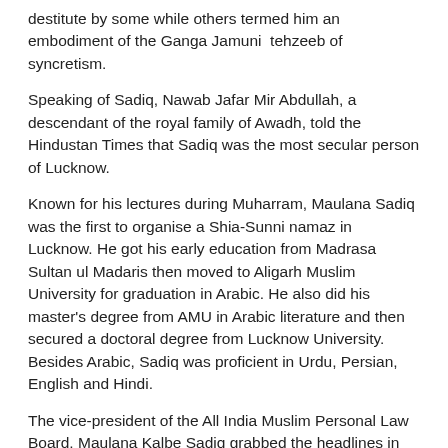destitute by some while others termed him an embodiment of the Ganga Jamuni tehzeeb of syncretism.
Speaking of Sadiq, Nawab Jafar Mir Abdullah, a descendant of the royal family of Awadh, told the Hindustan Times that Sadiq was the most secular person of Lucknow.
Known for his lectures during Muharram, Maulana Sadiq was the first to organise a Shia-Sunni namaz in Lucknow. He got his early education from Madrasa Sultan ul Madaris then moved to Aligarh Muslim University for graduation in Arabic. He also did his master's degree from AMU in Arabic literature and then secured a doctoral degree from Lucknow University. Besides Arabic, Sadiq was proficient in Urdu, Persian, English and Hindi.
The vice-president of the All India Muslim Personal Law Board, Maulana Kalbe Sadiq grabbed the headlines in 2017, when he advocated for peace over the Babri Masjid land dispute. He stated that if the Supreme Court verdict was in the Board's favour, then Muslims should give up their claim on the land.